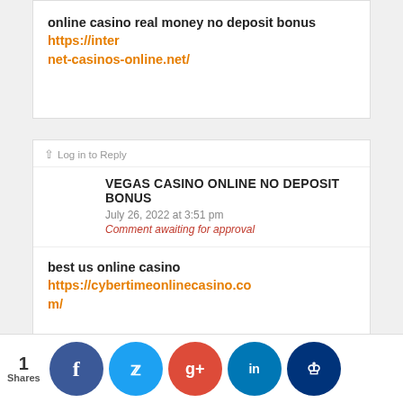online casino real money no deposit bonus https://internet-casinos-online.net/
Log in to Reply
VEGAS CASINO ONLINE NO DEPOSIT BONUS
July 26, 2022 at 3:51 pm
Comment awaiting for approval
best us online casino https://cybertimeonlinecasino.com/
Log in to Reply
ONLINE CASINO WITH FREE BONUS WITHOUT DEPOSIT
July 26, 2022 at 1:58 pm
Comment awaiting for approval
1 Shares